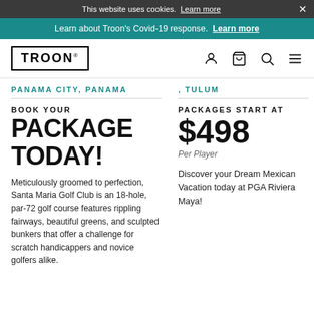This website uses cookies. Learn more
Learn about Troon's Covid-19 response. Learn more
[Figure (logo): Troon logo in a rectangular border]
PANAMA CITY, PANAMA
, TULUM
BOOK YOUR
PACKAGE TODAY!
Meticulously groomed to perfection, Santa Maria Golf Club is an 18-hole, par-72 golf course features rippling fairways, beautiful greens, and sculpted bunkers that offer a challenge for scratch handicappers and novice golfers alike.
PACKAGES START AT
$498
Per Player
Discover your Dream Mexican Vacation today at PGA Riviera Maya!